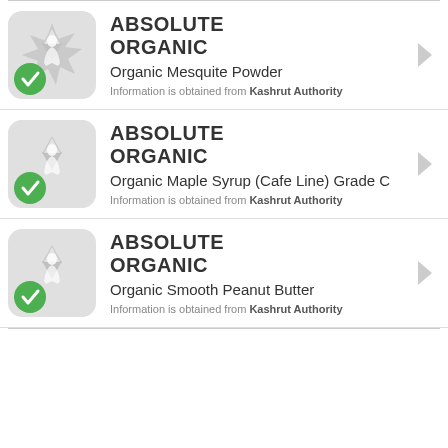[Figure (logo): Absolute Organic kosher star logo with green checkmark badge]
ABSOLUTE ORGANIC
Organic Mesquite Powder
Information is obtained from Kashrut Authority
[Figure (logo): Absolute Organic kosher star logo with green checkmark badge]
ABSOLUTE ORGANIC
Organic Maple Syrup (Cafe Line) Grade C
Information is obtained from Kashrut Authority
[Figure (logo): Absolute Organic kosher star logo with green checkmark badge]
ABSOLUTE ORGANIC
Organic Smooth Peanut Butter
Information is obtained from Kashrut Authority